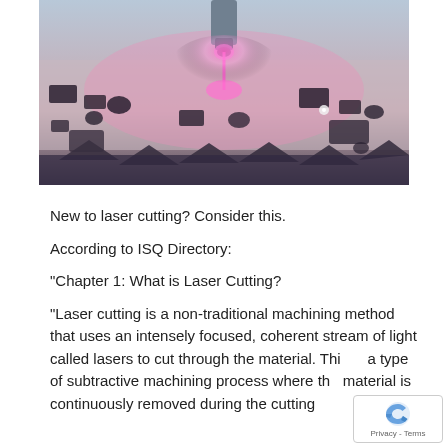[Figure (photo): A laser cutting machine in operation, cutting metal sheets. The laser head emits a bright pinkish-red beam, illuminating the metallic surface below with various cut-out shapes visible.]
New to laser cutting? Consider this.
According to ISQ Directory:
“Chapter 1: What is Laser Cutting?
“Laser cutting is a non-traditional machining method that uses an intensely focused, coherent stream of light called lasers to cut through the material. This is a type of subtractive machining process where the material is continuously removed during the cutting